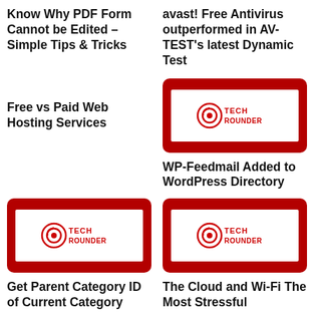Know Why PDF Form Cannot be Edited – Simple Tips & Tricks
avast! Free Antivirus outperformed in AV-TEST's latest Dynamic Test
Free vs Paid Web Hosting Services
[Figure (logo): Tech Rounder logo on red background]
WP-Feedmail Added to WordPress Directory
[Figure (logo): Tech Rounder logo on red background]
[Figure (logo): Tech Rounder logo on red background]
Get Parent Category ID of Current Category
The Cloud and Wi-Fi The Most Stressful